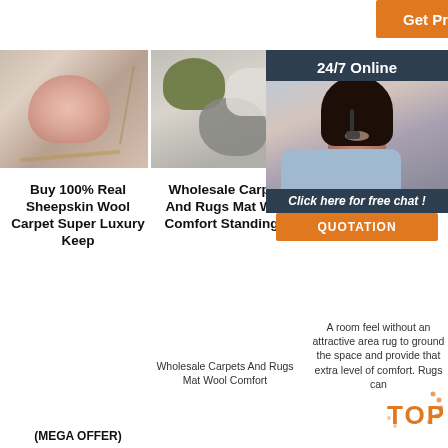[Figure (other): Orange 'Get Price' button at top center]
[Figure (photo): Sheepskin fur chair with pink wool seat on gold wire frame]
[Figure (photo): Multiple fur/wool decorative pillows in green, grey, and white on shelf]
[Figure (photo): Third product photo partially visible - sheepskin/wool rug or cushion]
Buy 100% Real Sheepskin Wool Carpet Super Luxury Keep
Wholesale Carpets And Rugs Mat Wool Comfort Standing ...
She... R...
A room feel... without an attractive area rug to ground the space and provide that extra level of comfort. Rugs can
Wholesale Carpets And Rugs Mat Wool Comfort
[Figure (infographic): 24/7 Online chat overlay with dark navy background, customer service agent photo, 'Click here for free chat!' text, and orange QUOTATION button]
(MEGA OFFER)
[Figure (logo): TOP badge with orange dots pattern watermark]